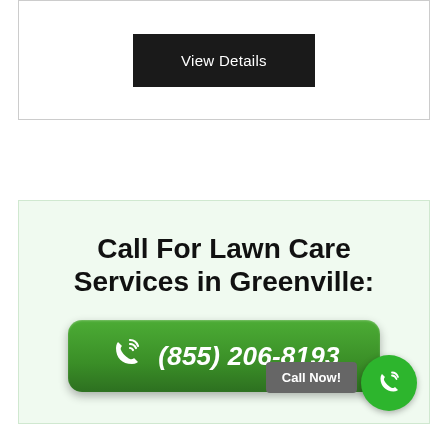[Figure (screenshot): Dark button labeled 'View Details' on a white card with border]
Call For Lawn Care Services in Greenville:
[Figure (infographic): Green phone button with phone icon and number (855) 206-8193]
Call Now!